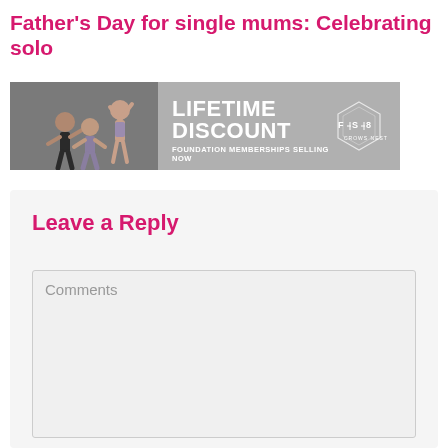Father's Day for single mums: Celebrating solo
[Figure (advertisement): Fitness studio advertisement banner showing people doing pilates/yoga exercises on the left, with text 'LIFETIME DISCOUNT' and 'FOUNDATION MEMBERSHIPS SELLING NOW' on a grey background, with FS8 Crows Nest logo on the right.]
Leave a Reply
Comments